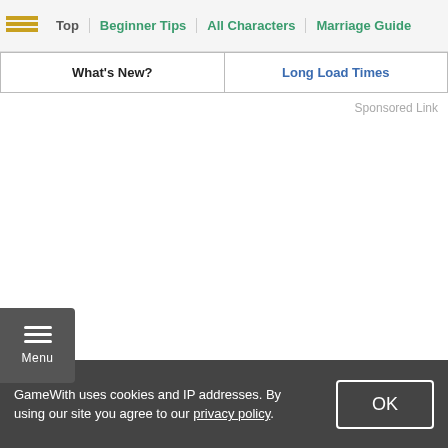Top | Beginner Tips | All Characters | Marriage Guide
| What's New? | Long Load Times |
Sponsored Link
Menu
GameWith uses cookies and IP addresses. By using our site you agree to our privacy policy.